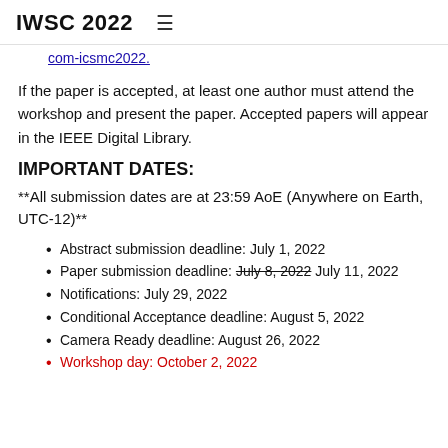IWSC 2022  ≡
com-icsmc2022.
If the paper is accepted, at least one author must attend the workshop and present the paper. Accepted papers will appear in the IEEE Digital Library.
IMPORTANT DATES:
**All submission dates are at 23:59 AoE (Anywhere on Earth, UTC-12)**
Abstract submission deadline: July 1, 2022
Paper submission deadline: July 8, 2022 [strikethrough] July 11, 2022
Notifications: July 29, 2022
Conditional Acceptance deadline: August 5, 2022
Camera Ready deadline: August 26, 2022
Workshop day: October 2, 2022